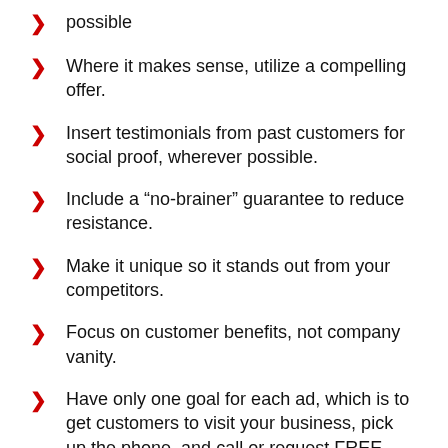possible
Where it makes sense, utilize a compelling offer.
Insert testimonials from past customers for social proof, wherever possible.
Include a “no-brainer” guarantee to reduce resistance.
Make it unique so it stands out from your competitors.
Focus on customer benefits, not company vanity.
Have only one goal for each ad, which is to get customers to visit your business, pick up the phone, and call or request FREE special information.